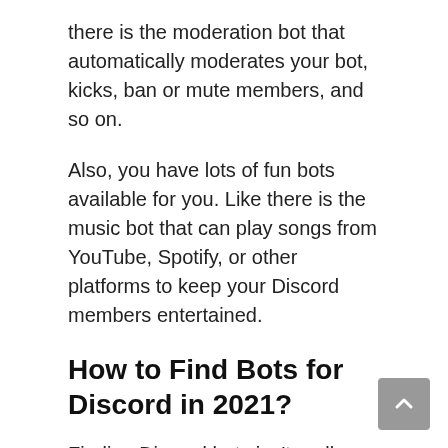there is the moderation bot that automatically moderates your bot, kicks, ban or mute members, and so on.
Also, you have lots of fun bots available for you. Like there is the music bot that can play songs from YouTube, Spotify, or other platforms to keep your Discord members entertained.
How to Find Bots for Discord in 2021?
Finding Discord bots isn't really hard. There are lots of cool websites available out there from which you can find and add Bots to your Discord.